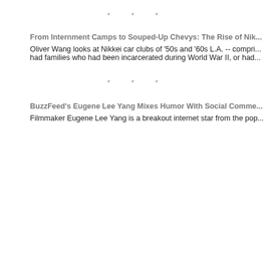* * *
From Internment Camps to Souped-Up Chevys: The Rise of Nik...
Oliver Wang looks at Nikkei car clubs of '50s and '60s L.A. -- compri... had families who had been incarcerated during World War II, or had...
* * *
BuzzFeed's Eugene Lee Yang Mixes Humor With Social Comme...
Filmmaker Eugene Lee Yang is a breakout internet star from the pop...